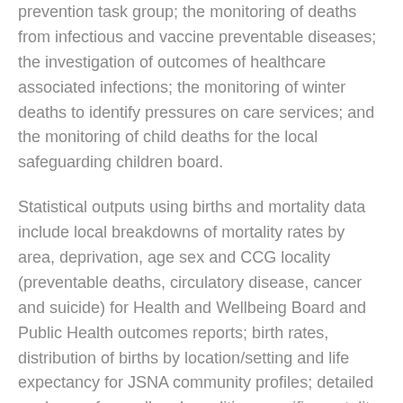prevention task group; the monitoring of deaths from infectious and vaccine preventable diseases; the investigation of outcomes of healthcare associated infections; the monitoring of winter deaths to identify pressures on care services; and the monitoring of child deaths for the local safeguarding children board.
Statistical outputs using births and mortality data include local breakdowns of mortality rates by area, deprivation, age sex and CCG locality (preventable deaths, circulatory disease, cancer and suicide) for Health and Wellbeing Board and Public Health outcomes reports; birth rates, distribution of births by location/setting and life expectancy for JSNA community profiles; detailed analyses of overall and condition-specific mortality rates, life expectancy, stillbirths, births by maternal age, low birthweights